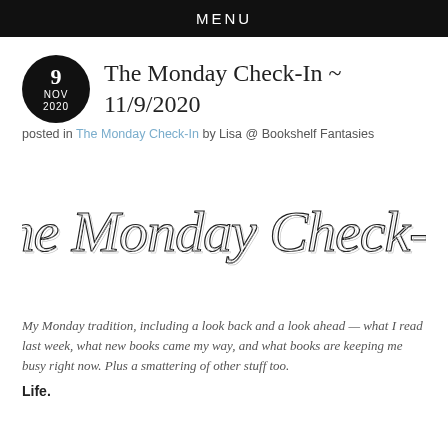MENU
The Monday Check-In ~ 11/9/2020
posted in The Monday Check-In by Lisa @ Bookshelf Fantasies
[Figure (illustration): Decorative cursive script image reading 'The Monday Check-In']
My Monday tradition, including a look back and a look ahead — what I read last week, what new books came my way, and what books are keeping me busy right now. Plus a smattering of other stuff too.
Life.